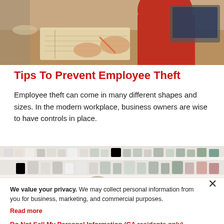[Figure (photo): Person in red top writing in a notebook at a desk with a laptop]
Tips To Prevent Employee Theft
Employee theft can come in many different shapes and sizes. In the modern workplace, business owners are wise to have controls in place.
[Figure (photo): Shelves of mugs and ceramic cups in a retail or cafe setting, with a person visible from behind]
We value your privacy. We may collect personal information from you for business, marketing, and commercial purposes. Read more
Do Not Sell My Personal Information (CA residents only)